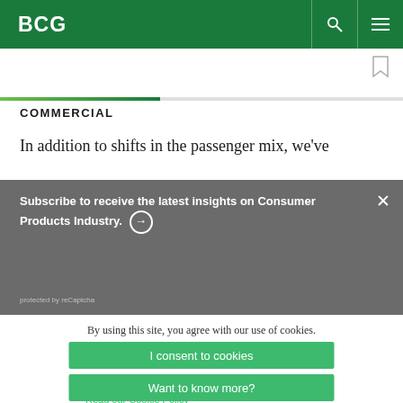BCG
COMMERCIAL
In addition to shifts in the passenger mix, we've
Subscribe to receive the latest insights on Consumer Products Industry. → protected by reCaptcha
By using this site, you agree with our use of cookies.
I consent to cookies
Want to know more?
Read our Cookie Policy